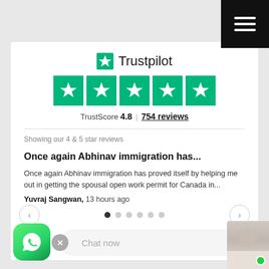[Figure (logo): Trustpilot logo with green star and text 'Trustpilot']
[Figure (other): Five green star rating boxes]
TrustScore 4.8 | 754 reviews
Showing our 4 & 5 star reviews
Once again Abhinav immigration has...
Once again Abhinav immigration has proved itself by helping me out in getting the spousal open work permit for Canada in...
Yuvraj Sangwan, 13 hours ago
[Figure (other): WhatsApp icon button (green with phone icon)]
Chat now